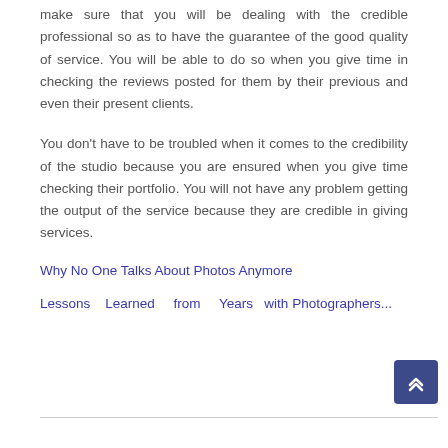make sure that you will be dealing with the credible professional so as to have the guarantee of the good quality of service. You will be able to do so when you give time in checking the reviews posted for them by their previous and even their present clients.
You don't have to be troubled when it comes to the credibility of the studio because you are ensured when you give time checking their portfolio. You will not have any problem getting the output of the service because they are credible in giving services.
Why No One Talks About Photos Anymore
Lessons Learned from Years with Photographers...